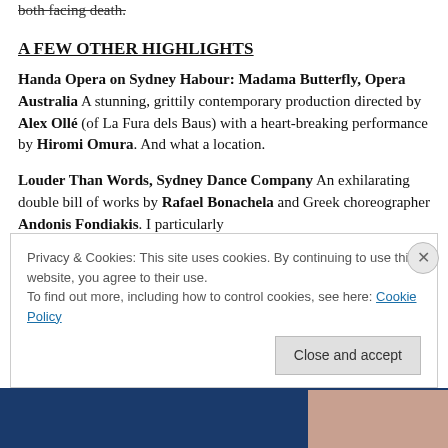both facing death.
A FEW OTHER HIGHLIGHTS
Handa Opera on Sydney Habour: Madama Butterfly, Opera Australia A stunning, grittily contemporary production directed by Alex Ollé (of La Fura dels Baus) with a heart-breaking performance by Hiromi Omura. And what a location.
Louder Than Words, Sydney Dance Company An exhilarating double bill of works by Rafael Bonachela and Greek choreographer Andonis Fondiakis. I particularly
Privacy & Cookies: This site uses cookies. By continuing to use this website, you agree to their use.
To find out more, including how to control cookies, see here: Cookie Policy